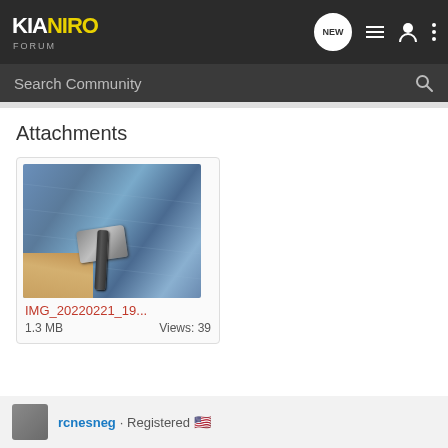KIA NIRO FORUM
Search Community
Attachments
[Figure (photo): Photo of a car part hinge/bracket resting on a blue fabric surface with a wooden floor visible, filename IMG_20220221_19..., 1.3 MB, Views: 39]
IMG_20220221_19...
1.3 MB    Views: 39
rcnesneg · Registered 🇺🇸